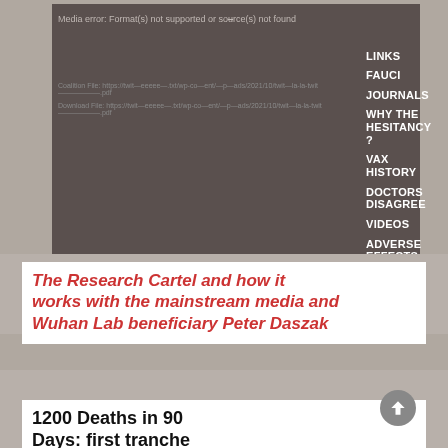[Figure (screenshot): Screenshot of a media player showing 'Media error: Format(s) not supported or source(s) not found', with a navigation menu overlaid showing items: LINKS, FAUCI, JOURNALS, WHY THE HESITANCY?, VAX HISTORY, DOCTORS DISAGREE, VIDEOS, ADVERSE EFFECTS, BILL GATES, LAWYERED]
The Research Cartel and how it works with the mainstream media and Wuhan Lab beneficiary Peter Daszak
1200 Deaths in 90 Days: first tranche